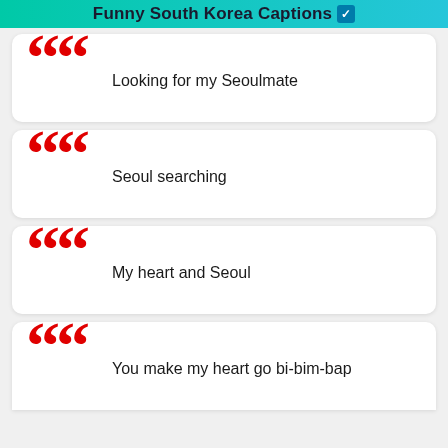Funny South Korea Captions ✓
Looking for my Seoulmate
Seoul searching
My heart and Seoul
You make my heart go bi-bim-bap